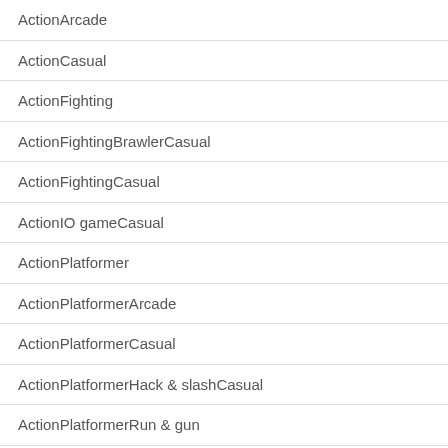| ActionArcade |
| ActionCasual |
| ActionFighting |
| ActionFightingBrawlerCasual |
| ActionFightingCasual |
| ActionIO gameCasual |
| ActionPlatformer |
| ActionPlatformerArcade |
| ActionPlatformerCasual |
| ActionPlatformerHack & slashCasual |
| ActionPlatformerRun & gun |
| ActionPlatformerRun & gunCasual |
| ActionPlatformerRunner |